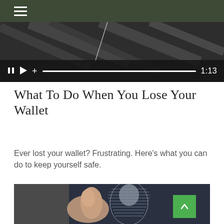[Figure (screenshot): Video player showing a dark background with diagonal gray stripes. Controls include pause, play, and plus buttons on the left, a progress bar in the center, and a timestamp '1:13' on the right.]
What to Do When You Lose Your Wallet
Ever lost your wallet? Frustrating. Here's what you can do to keep yourself safe.
[Figure (photo): A close-up photo of a finger touching a tablet screen displaying an engraved portrait of Benjamin Franklin (as seen on US currency).]